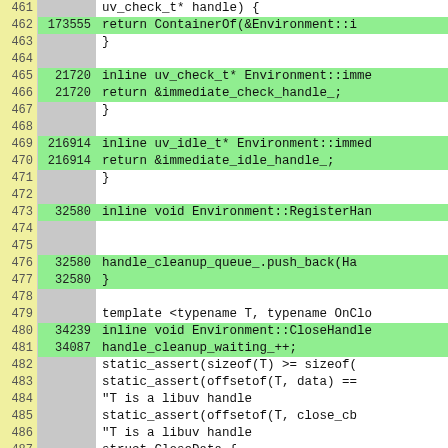[Figure (screenshot): Code coverage viewer showing C++ source lines 461-487 with line numbers, hit counts, and highlighted source code. Green highlights indicate covered lines.]